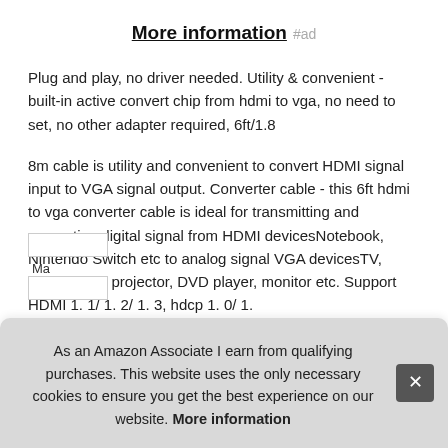More information #ad
Plug and play, no driver needed. Utility & convenient - built-in active convert chip from hdmi to vga, no need to set, no other adapter required, 6ft/1.8
8m cable is utility and convenient to convert HDMI signal input to VGA signal output. Converter cable - this 6ft hdmi to vga converter cable is ideal for transmitting and converting digital signal from HDMI devicesNotebook, Nintendo Switch etc to analog signal VGA devicesTV, Laptop, PC, projector, DVD player, monitor etc. Support HDMI 1. 1/ 1. 2/ 1. 3, hdcp 1. 0/ 1.
As an Amazon Associate I earn from qualifying purchases. This website uses the only necessary cookies to ensure you get the best experience on our website. More information